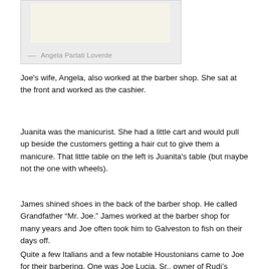[Figure (photo): Partial photo of a barber shop interior, cropped at the top, with a light cream/beige background area.]
— Angela Parlati Loverde
Joe's wife, Angela, also worked at the barber shop. She sat at the front and worked as the cashier.
Juanita was the manicurist. She had a little cart and would pull up beside the customers getting a hair cut to give them a manicure. That little table on the left is Juanita's table (but maybe not the one with wheels).
James shined shoes in the back of the barber shop. He called Grandfather “Mr. Joe.” James worked at the barber shop for many years and Joe often took him to Galveston to fish on their days off.
Quite a few Italians and a few notable Houstonians came to Joe for their barbering. One was Joe Lucia, Sr., owner of Rudi’s